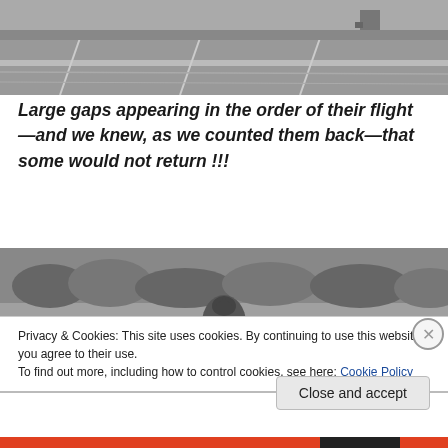[Figure (photo): Black and white aerial/ground photo of airfield runway, partial view of top portion of page]
Large gaps appearing in the order of their flight—and we knew, as we counted them back—that some would not return !!!
[Figure (photo): Black and white photograph of a WWII-era bomber aircraft (front view) on a runway with trees in background]
Privacy & Cookies: This site uses cookies. By continuing to use this website, you agree to their use.
To find out more, including how to control cookies, see here: Cookie Policy
Close and accept